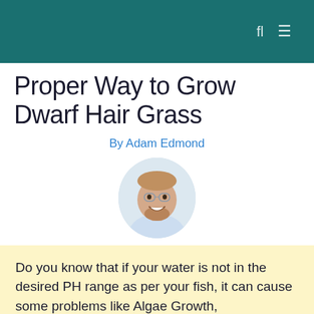Proper Way to Grow Dwarf Hair Grass
By Adam Edmond
[Figure (photo): Headshot photo of Adam Edmond, a smiling man with light brown hair and beard, wearing a light blue shirt, on a white background]
Do you know that if your water is not in the desired PH range as per your fish, it can cause some problems like Algae Growth, Coral Growth, damage to the health of [fish]...